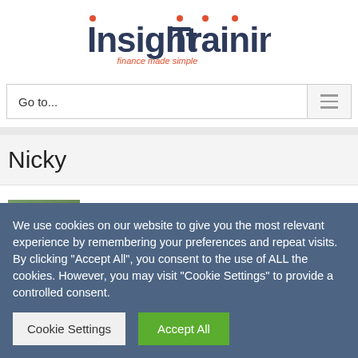[Figure (logo): Insight Training logo — dark navy bold text 'Insight Training' with orange dot accents above letters i and i, subtitle 'finance made simple' in orange italic below]
Go to...
Nicky
About Nicky Clough
We use cookies on our website to give you the most relevant experience by remembering your preferences and repeat visits. By clicking "Accept All", you consent to the use of ALL the cookies. However, you may visit "Cookie Settings" to provide a controlled consent.